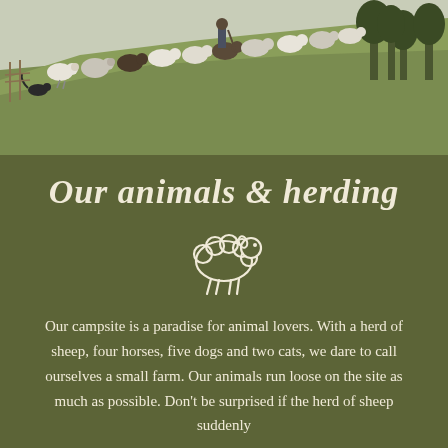[Figure (photo): Outdoor photograph of a person herding a large flock of sheep across a grassy hillside slope, with trees visible in the background on the right side.]
Our animals & herding
[Figure (illustration): Simple white outline icon of a sheep (cartoon style) on the dark olive green background.]
Our campsite is a paradise for animal lovers. With a herd of sheep, four horses, five dogs and two cats, we dare to call ourselves a small farm. Our animals run loose on the site as much as possible. Don't be surprised if the herd of sheep suddenly